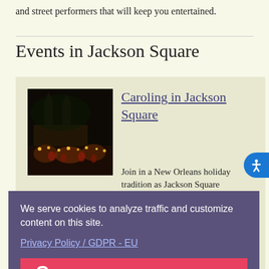and street performers that will keep you entertained.
Events in Jackson Square
[Figure (photo): Nighttime photo of Jackson Square with crowd of people holding candles, St. Louis Cathedral illuminated in background]
Caroling in Jackson Square
Join in a New Orleans holiday tradition as Jackson Square
en to and
We serve cookies to analyze traffic and customize content on this site.
Privacy Policy / GDPR - EU
Got it!